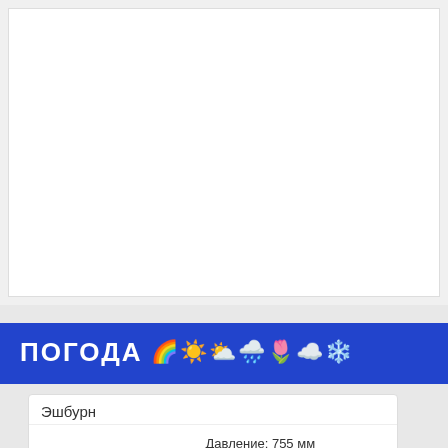[Figure (screenshot): White/blank upper area of webpage screenshot]
ПОГОДА 🌈☀️⛅🌧️🌷☁️❄️
| Эшбурн |  |  |
| +22°C | [cloud icon] | Давление: 755 мм
Влажность: 77 %
Ветер: Южн, 2 м/с |
| Пн, 5 сен | [rain/lightning icon] | +27° | ночью: +24 |